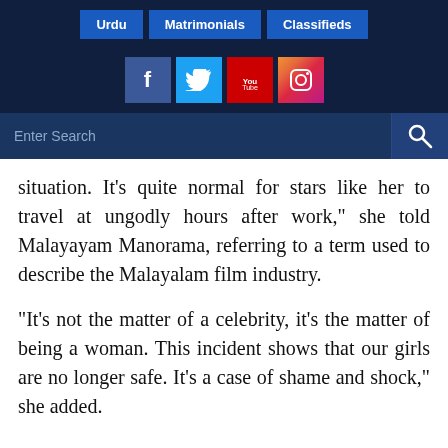Urdu | Matrimonials | Classifieds
[Figure (screenshot): Social media icons: Facebook, Twitter, YouTube, Instagram]
[Figure (screenshot): Search bar with search icon on dark blue background]
situation. It’s quite normal for stars like her to travel at ungodly hours after work,” she told Malayayam Manorama, referring to a term used to describe the Malayalam film industry.
“It’s not the matter of a celebrity, it’s the matter of being a woman. This incident shows that our girls are no longer safe. It’s a case of shame and shock,” she added.